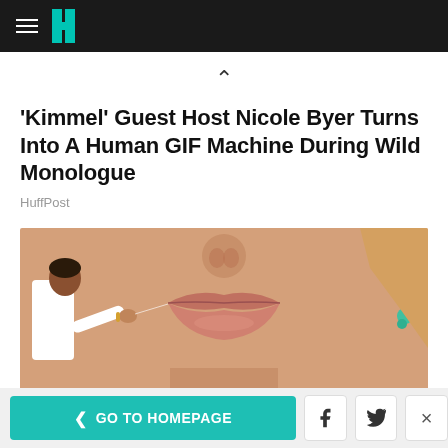HuffPost navigation bar with hamburger menu and logo
'Kimmel' Guest Host Nicole Byer Turns Into A Human GIF Machine During Wild Monologue
HuffPost
[Figure (photo): Close-up photo of a woman's face lips with a small man in a white shirt appearing to touch the corner of her lips]
< GO TO HOMEPAGE | Facebook share | Twitter share | Close